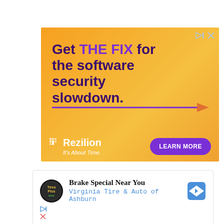[Figure (illustration): Orange/yellow gradient advertisement banner for Rezilion. Large bold text reads 'Get THE FIX for the software security slowdown.' with a purple horizontal arrow graphic. Bottom shows Rezilion logo with 'It's About Time.' tagline and a purple 'LEARN MORE' button. Small ad control icons (play/close) in top-right corner.]
[Figure (illustration): White advertisement card showing a circular black logo for Virginia Tire & Auto. Text reads 'Brake Special Near You' and 'Virginia Tire & Auto of Ashburn' in blue. A blue map pin/navigation icon on the right. Small ad control icons (play/close) at bottom-left.]